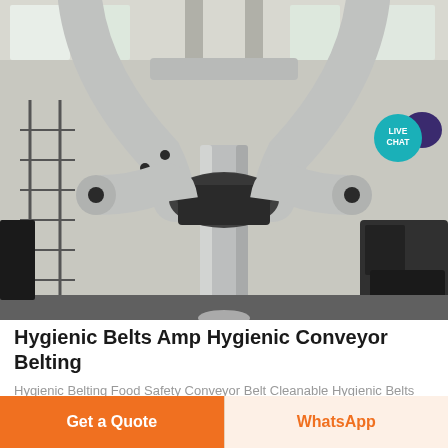[Figure (photo): Industrial piping system inside a factory building, showing large grey pipe fittings branching in a Y-shape configuration. The pipes are supported from an overhead structure inside a large industrial hall with natural light coming through windows.]
Hygienic Belts Amp Hygienic Conveyor Belting
Hygienic Belting Food Safety Conveyor Belt Cleanable Hygienic Belts SAFE Green Rubber Kennedy Ag
Get a Quote
WhatsApp